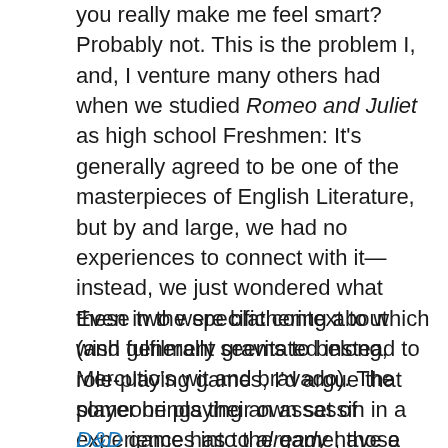you really make me feel smart? Probably not. This is the problem I, and, I venture many others had when we studied Romeo and Juliet as high school Freshmen: It's generally agreed to be one of the masterpieces of English Literature, but by and large, we had no experiences to connect with it—instead, we just wondered what these two were blathering about (and generally gravitated instead to Mercutio's wit and bravado). The player brings their own set of experiences into the game; those are what you have to work with.
Even in the specific context to which wish fulfilment seems to belong, role-playing games, I'd argue that someone playing an assassin in a D&D game has to already have a devious side to their personality in order to enjoy it. Therefore, I'd say